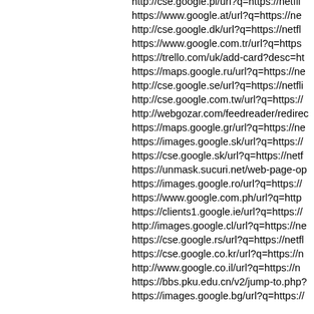http://cse.google.pl/url?q=https://netfli
https://www.google.at/url?q=https://ne
http://cse.google.dk/url?q=https://netfl
https://www.google.com.tr/url?q=https
https://trello.com/uk/add-card?desc=ht
https://maps.google.ru/url?q=https://ne
http://cse.google.se/url?q=https://netfli
http://cse.google.com.tw/url?q=https://
http://webgozar.com/feedreader/redirec
https://maps.google.gr/url?q=https://ne
https://images.google.sk/url?q=https://
https://cse.google.sk/url?q=https://netf
https://unmask.sucuri.net/web-page-op
https://images.google.ro/url?q=https://
https://www.google.com.ph/url?q=http
https://clients1.google.ie/url?q=https://
http://images.google.cl/url?q=https://ne
https://cse.google.rs/url?q=https://netfl
https://cse.google.co.kr/url?q=https://n
http://www.google.co.il/url?q=https://n
https://bbs.pku.edu.cn/v2/jump-to.php?
https://images.google.bg/url?q=https://